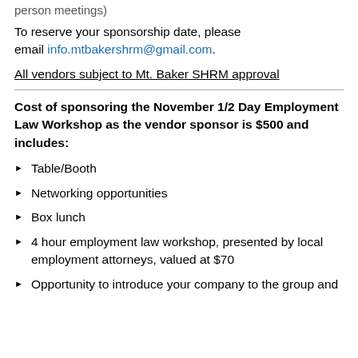person meetings)
To reserve your sponsorship date, please email info.mtbakershrm@gmail.com.
All vendors subject to Mt. Baker SHRM approval
Cost of sponsoring the November 1/2 Day Employment Law Workshop as the vendor sponsor is $500 and includes:
Table/Booth
Networking opportunities
Box lunch
4 hour employment law workshop, presented by local employment attorneys, valued at $70
Opportunity to introduce your company to the group and